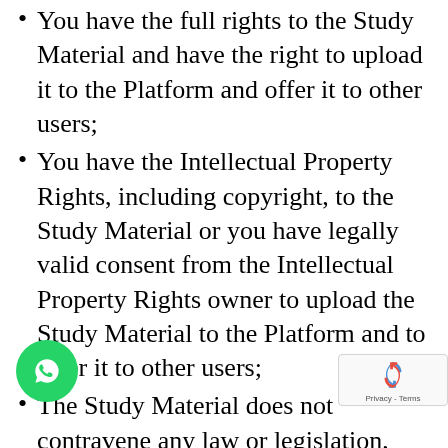You have the full rights to the Study Material and have the right to upload it to the Platform and offer it to other users;
You have the Intellectual Property Rights, including copyright, to the Study Material or you have legally valid consent from the Intellectual Property Rights owner to upload the Study Material to the Platform and to offer it to other users;
The Study Material does not contravene any law or legislation, and/or does not infringe on any (Intellectual Property) Rights of third parties, and/or is not unlawful towards Beezynotes and/or third parties;
Beezynotes will not be required to make payments in relation to the uploading and use of the Study Material and...